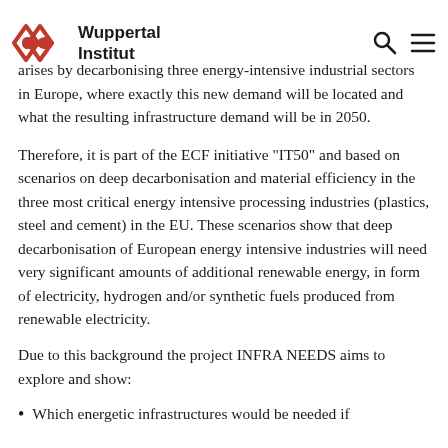Wuppertal Institut
arises by decarbonising three energy-intensive industrial sectors in Europe, where exactly this new demand will be located and what the resulting infrastructure demand will be in 2050.
Therefore, it is part of the ECF initiative "IT50" and based on scenarios on deep decarbonisation and material efficiency in the three most critical energy intensive processing industries (plastics, steel and cement) in the EU. These scenarios show that deep decarbonisation of European energy intensive industries will need very significant amounts of additional renewable energy, in form of electricity, hydrogen and/or synthetic fuels produced from renewable electricity.
Due to this background the project INFRA NEEDS aims to explore and show:
Which energetic infrastructures would be needed if